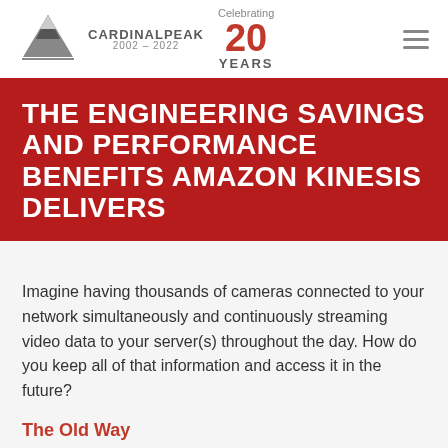[Figure (logo): Cardinal Peak logo with mountain graphic, brand name, years 2002-2022, celebrating 20 years badge, and hamburger menu icon]
THE ENGINEERING SAVINGS AND PERFORMANCE BENEFITS AMAZON KINESIS DELIVERS
Imagine having thousands of cameras connected to your network simultaneously and continuously streaming video data to your server(s) throughout the day. How do you keep all of that information and access it in the future?
The Old Way